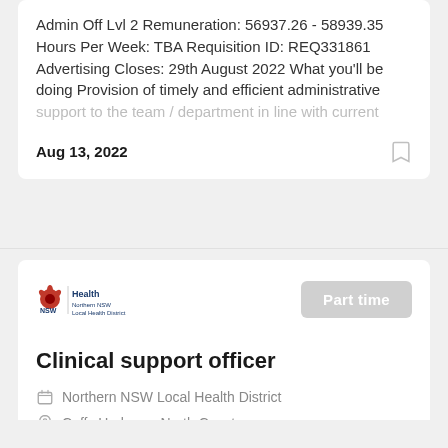Admin Off Lvl 2 Remuneration: 56937.26 - 58939.35 Hours Per Week: TBA Requisition ID: REQ331861 Advertising Closes: 29th August 2022 What you'll be doing Provision of timely and efficient administrative support to the team / department in line with current
Aug 13, 2022
[Figure (logo): NSW Health Northern NSW Local Health District logo]
Part time
Clinical support officer
Northern NSW Local Health District
Coffs Harbour , North Coast